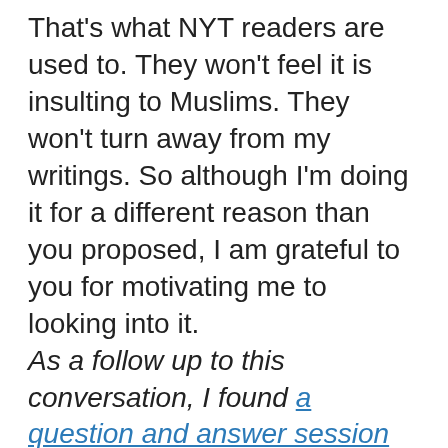That's what NYT readers are used to. They won't feel it is insulting to Muslims. They won't turn away from my writings. So although I'm doing it for a different reason than you proposed, I am grateful to you for motivating me to looking into it.
As a follow up to this conversation, I found a question and answer session with Merrill Perlman, the head copy editor of the New York Times. Someone asked why the NYT spells it "Koran" instead of "Quran" since the Arab world prefers "Quran." Perlman answered that the NYT's "overall guideline is to refer to our dictionary of choice, Webster's New World College Dictionary, when it deals with the subject. W.N.W. prefers Koran, and so we do as well. The Associated Press, whose style